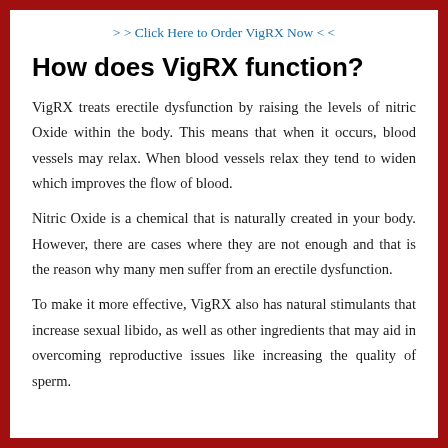> > Click Here to Order VigRX Now < <
How does VigRX function?
VigRX treats erectile dysfunction by raising the levels of nitric Oxide within the body. This means that when it occurs, blood vessels may relax. When blood vessels relax they tend to widen which improves the flow of blood.
Nitric Oxide is a chemical that is naturally created in your body. However, there are cases where they are not enough and that is the reason why many men suffer from an erectile dysfunction.
To make it more effective, VigRX also has natural stimulants that increase sexual libido, as well as other ingredients that may aid in overcoming reproductive issues like increasing the quality of sperm.